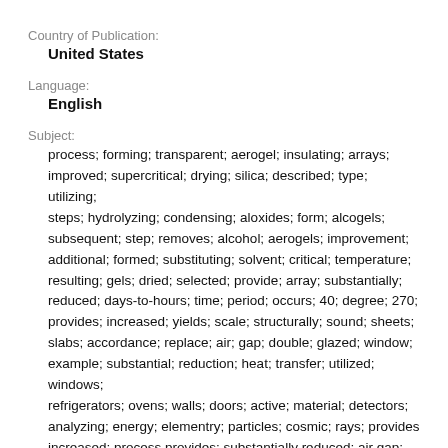Country of Publication:
United States
Language:
English
Subject:
process; forming; transparent; aerogel; insulating; arrays; improved; supercritical; drying; silica; described; type; utilizing; steps; hydrolyzing; condensing; aloxides; form; alcogels; subsequent; step; removes; alcohol; aerogels; improvement; additional; formed; substituting; solvent; critical; temperature; resulting; gels; dried; selected; provide; array; substantially; reduced; days-to-hours; time; period; occurs; 40; degree; 270; provides; increased; yields; scale; structurally; sound; sheets; slabs; accordance; replace; air; gap; double; glazed; window; example; substantial; reduction; heat; transfer; utilized; windows; refrigerators; ovens; walls; doors; active; material; detectors; analyzing; energy; elementry; particles; cosmic; rays; provides increased; process provides; substantially reduced; air gap; increased; supercritical; temperature; material able;